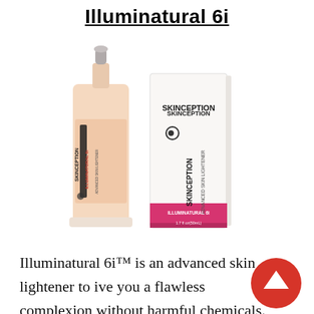Illuminatural 6i
[Figure (photo): Skinception Illuminatural 6i Advanced Skin Lightener product — a pump bottle with peach/cream colored serum and its white rectangular box with pink band at the bottom, shown side by side on white background.]
Illuminatural 6i™ is an advanced skin lightener to ive you a flawless complexion without harmful chemicals. From the hot-selling